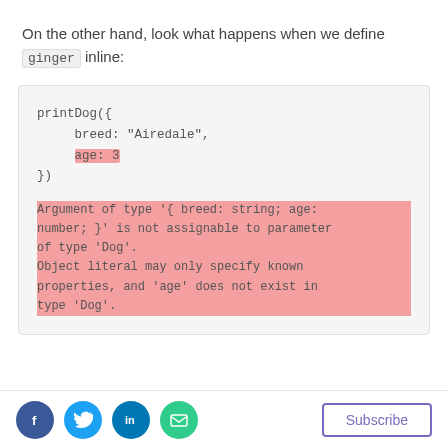On the other hand, look what happens when we define ginger inline:
[Figure (screenshot): Code block showing printDog call with breed and age properties, followed by a TypeScript error highlighted in pink/red: 'Argument of type { breed: string; age: number; } is not assignable to parameter of type Dog. Object literal may only specify known properties, and age does not exist in type Dog.']
Social share icons (Facebook, Twitter, LinkedIn, Email) and Subscribe button